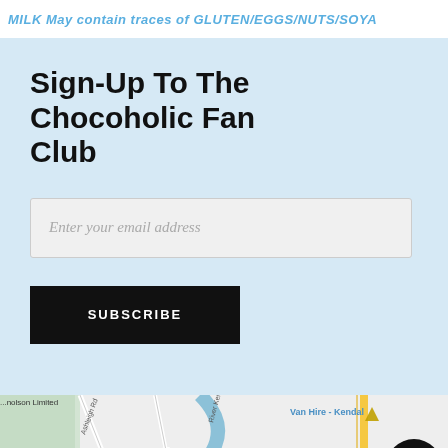MILK May contain traces of GLUTEN/EGGS/NUTS/SOYA
Sign-Up To The Chocoholic Fan Club
Enter your email address
SUBSCRIBE
[Figure (map): Google Maps showing Kendal area with River Kent, Van Hire - Kendal, Horncop Ln, Ashleigh Rd, and Alexandra Sanct visible. A Facebook Messenger chat icon appears in the bottom-right corner.]